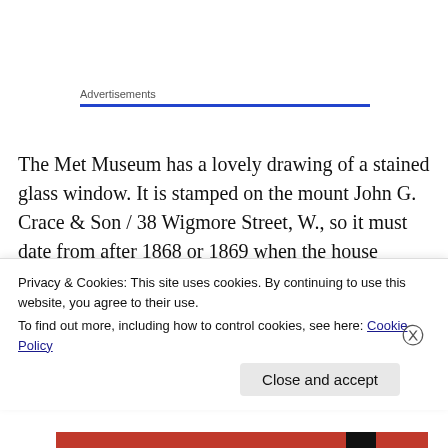Advertisements
The Met Museum has a lovely drawing of a stained glass window. It is stamped on the mount John G. Crace & Son / 38 Wigmore Street, W., so it must date from after 1868 or 1869 when the house numbering changed from 14 to 38. The Met dates it as ‘probably 1880s or 90s’.
[Figure (photo): Partial view of a stained glass window drawing from The Met Museum, with decorative border visible at top.]
Privacy & Cookies: This site uses cookies. By continuing to use this website, you agree to their use.
To find out more, including how to control cookies, see here: Cookie Policy